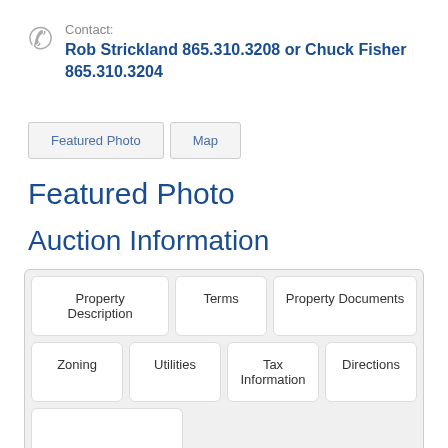Contact: Rob Strickland 865.310.3208 or Chuck Fisher 865.310.3204
Featured Photo
Map
Featured Photo
Auction Information
Property Description
Terms
Property Documents
Zoning
Utilities
Tax Information
Directions